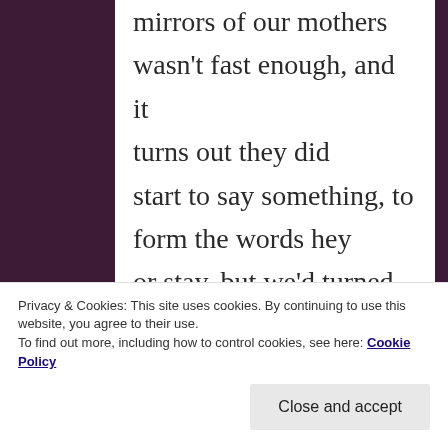mirrors of our mothers wasn't fast enough, and it turns out they did start to say something, to form the words hey or stay, but we'd turned into a door full of sun, into the burning leave, and to shout, that they should
Privacy & Cookies: This site uses cookies. By continuing to use this website, you agree to their use.
To find out more, including how to control cookies, see here: Cookie Policy
Close and accept